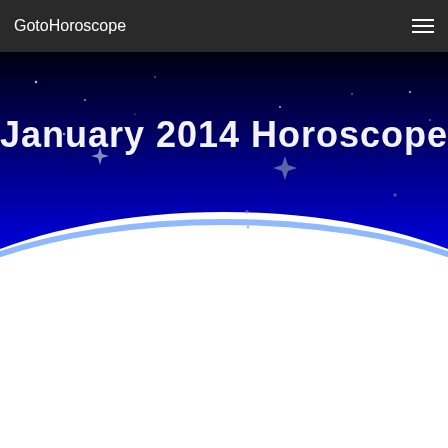GotoHoroscope
[Figure (illustration): Night sky hero banner with deep blue and black gradient background, stars scattered across the sky, and a glowing blue horizon arc at the bottom representing a planet or Earth from space. White text reads 'January 2014 Horoscope' in large font. The lower portion transitions to a bright white globe/planet surface.]
January 2014 Horoscope